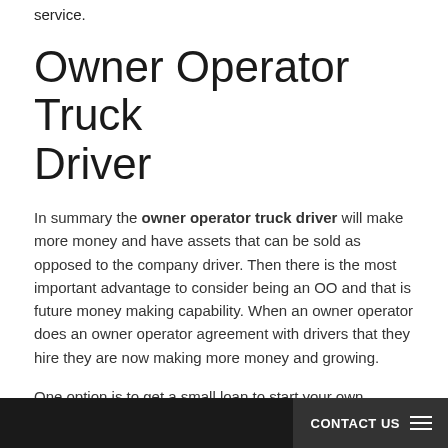service.
Owner Operator Truck Driver
In summary the owner operator truck driver will make more money and have assets that can be sold as opposed to the company driver. Then there is the most important advantage to consider being an OO and that is future money making capability. When an owner operator does an owner operator agreement with drivers that they hire they are now making more money and growing.
One option is to get a small loan to start your own trucking company. Keep in minf that most truck or tractor trailer are leased. This means you will not need all the money to buy a truck right away. Also in the begining you can factor your loads, so you are paid right away. Look at the following link: loans and grants for
CONTACT US